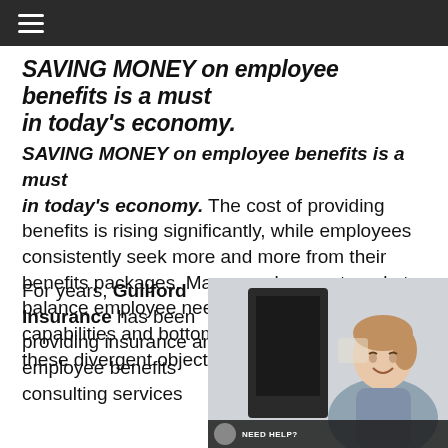Navigation bar with hamburger menu
SAVING MONEY on employee benefits is a must in today's economy.
The cost of providing benefits is rising significantly, while employees consistently seek more and more from their benefits packages. Many employers struggle to balance employee needs with their own capabilities and bottom lines. Helping you meet these divergent objectives is our specialty.
For years, Guilford Insurance has been providing insurance and employee benefits consulting services
[Figure (photo): Woman smiling at a computer monitor in an office setting, wearing a sleeveless grey top with hair up]